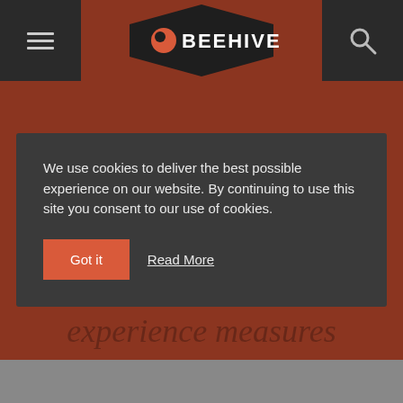[Figure (logo): Beehive logo with hexagon shape and bee icon, white text BEEHIVE on dark background]
We use cookies to deliver the best possible experience on our website. By continuing to use this site you consent to our use of cookies.
Got it
Read More